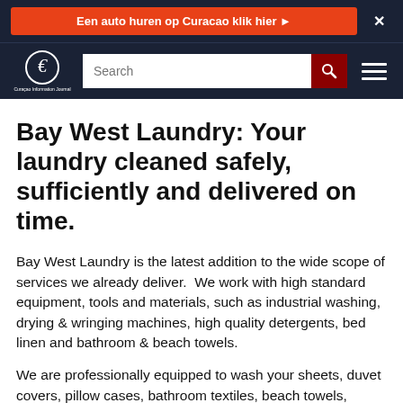Een auto huren op Curacao klik hier ► X
[Figure (logo): Curacao site logo with stylized C/G symbol and small text below]
Bay West Laundry: Your laundry cleaned safely, sufficiently and delivered on time.
Bay West Laundry is the latest addition to the wide scope of services we already deliver.  We work with high standard equipment, tools and materials, such as industrial washing, drying & wringing machines, high quality detergents, bed linen and bathroom & beach towels.
We are professionally equipped to wash your sheets, duvet covers, pillow cases, bathroom textiles, beach towels, uniforms, cleaning cloth and any other type of professional textiles.